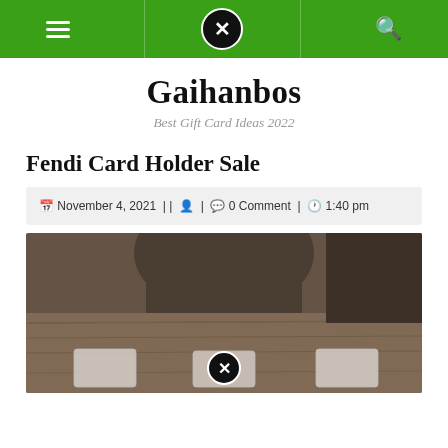Gaihanbos navigation bar
Gaihanbos
Best Gift Card Ideas 2022
Fendi Card Holder Sale
November 4, 2021 | | | 0 Comment | 1:40 pm
[Figure (photo): Photo showing playing cards laid on a wooden table surface with a person's torso visible in the background]